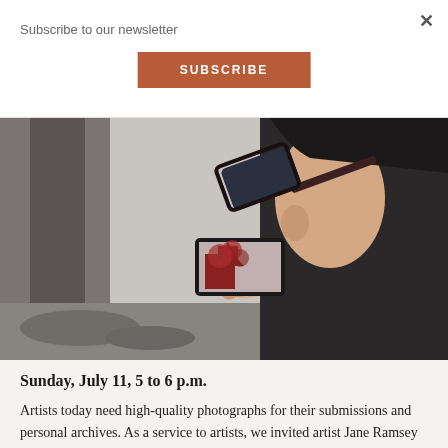Subscribe to our newsletter
SUBSCRIBE
[Figure (photo): Person wearing a black cap and glasses, seen from behind, holding a smartphone and taking a photo of red-leafed trees against a gray concrete wall background.]
Sunday, July 11, 5 to 6 p.m.
Artists today need high-quality photographs for their submissions and personal archives. As a service to artists, we invited artist Jane Ramsey and